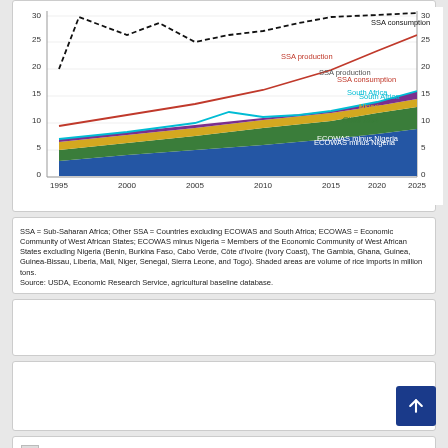[Figure (area-chart): SSA rice consumption and production with stacked area imports by region]
SSA = Sub-Saharan Africa; Other SSA = Countries excluding ECOWAS and South Africa; ECOWAS = Economic Community of West African States; ECOWAS minus Nigeria = Members of the Economic Community of West African States excluding Nigeria (Benin, Burkina Faso, Cabo Verde, Côte d'Ivoire (Ivory Coast), The Gambia, Ghana, Guinea, Guinea-Bissau, Liberia, Mali, Niger, Senegal, Sierra Leone, and Togo). Shaded areas are volume of rice imports in million tons.
Source: USDA, Economic Research Service, agricultural baseline database.
[Figure (other): Empty white card placeholder]
[Figure (other): Empty white card placeholder 2]
Usda Ers Sub Saharan Africa Is Projected To Be The Leader In Global R…